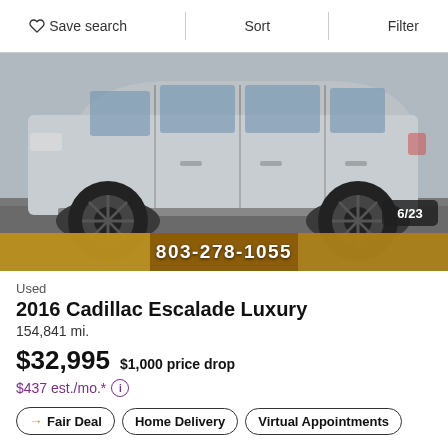Save search  Sort  Filter
[Figure (photo): Side profile of a silver 2016 Cadillac Escalade Luxury SUV with black wheels, parked on asphalt. Image shows photo 6 of 23. A phone number banner reads 803-278-1055.]
Used
2016 Cadillac Escalade Luxury
154,841 mi.
$32,995  $1,000 price drop
$437 est./mo.*
→ Fair Deal  Home Delivery  Virtual Appointments